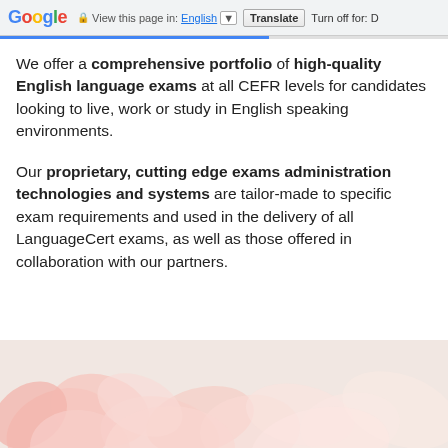Google  View this page in: English [▼]  Translate  Turn off for: D
We offer a comprehensive portfolio of high-quality English language exams at all CEFR levels for candidates looking to live, work or study in English speaking environments.
Our proprietary, cutting edge exams administration technologies and systems are tailor-made to specific exam requirements and used in the delivery of all LanguageCert exams, as well as those offered in collaboration with our partners.
[Figure (photo): Partial view of pink/salmon colored flowers on a light pinkish-beige background, cropped at bottom of page]